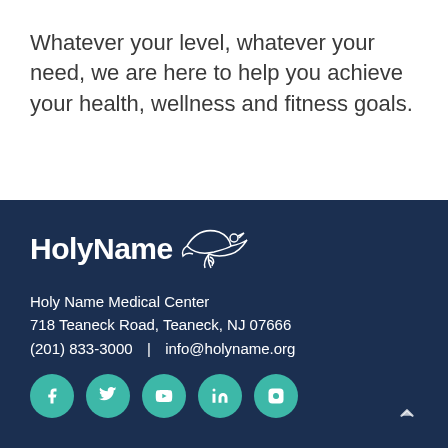Whatever your level, whatever your need, we are here to help you achieve your health, wellness and fitness goals.
[Figure (logo): Holy Name Medical Center logo with dove/leaf emblem in white on dark navy background]
Holy Name Medical Center
718 Teaneck Road, Teaneck, NJ 07666
(201) 833-3000  |  info@holyname.org
[Figure (infographic): Social media icons: Facebook, Twitter, YouTube, LinkedIn, Instagram — teal circular buttons]